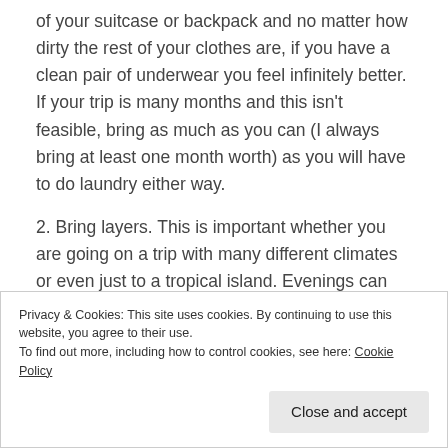of your suitcase or backpack and no matter how dirty the rest of your clothes are, if you have a clean pair of underwear you feel infinitely better. If your trip is many months and this isn't feasible, bring as much as you can (I always bring at least one month worth) as you will have to do laundry either way.
2. Bring layers. This is important whether you are going on a trip with many different climates or even just to a tropical island. Evenings can always cool off, or some places are so air-conditioned that the 30 degrees outside doesn't even matter. you still need a sweater.
Privacy & Cookies: This site uses cookies. By continuing to use this website, you agree to their use.
To find out more, including how to control cookies, see here: Cookie Policy
Close and accept